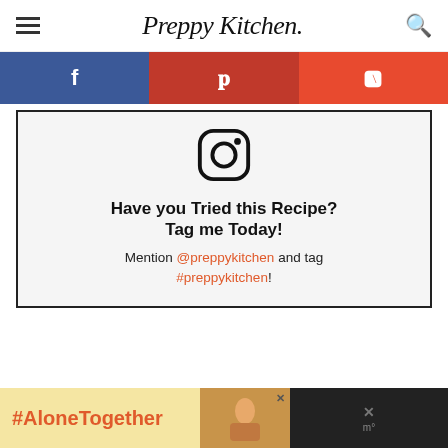Preppy Kitchen
[Figure (screenshot): Social sharing bar with Facebook (blue), Pinterest (red), Reddit (orange) icons]
[Figure (infographic): Instagram call-to-action box with Instagram icon and text: Have you Tried this Recipe? Tag me Today! Mention @preppykitchen and tag #preppykitchen!]
[Figure (infographic): Advertisement banner at bottom: #AloneTogether in orange text on yellow background, with a photo of a woman and a dark panel with close button]